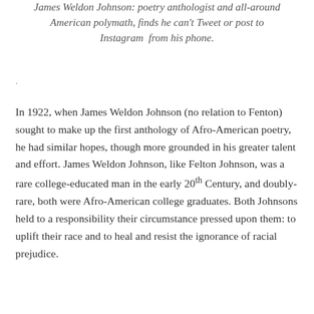James Weldon Johnson: poetry anthologist and all-around American polymath, finds he can't Tweet or post to Instagram from his phone.
.
In 1922, when James Weldon Johnson (no relation to Fenton) sought to make up the first anthology of Afro-American poetry, he had similar hopes, though more grounded in his greater talent and effort. James Weldon Johnson, like Felton Johnson, was a rare college-educated man in the early 20th Century, and doubly-rare, both were Afro-American college graduates. Both Johnsons held to a responsibility their circumstance pressed upon them: to uplift their race and to heal and resist the ignorance of racial prejudice.